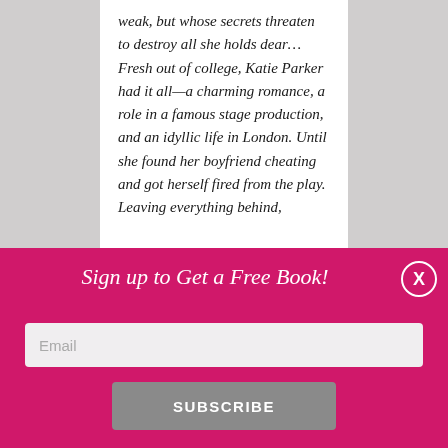weak, but whose secrets threaten to destroy all she holds dear...

Fresh out of college, Katie Parker had it all—a charming romance, a role in a famous stage production, and an idyllic life in London. Until she found her boyfriend cheating and got herself fired from the play. Leaving everything behind,
Sign up to Get a Free Book!
Email
SUBSCRIBE